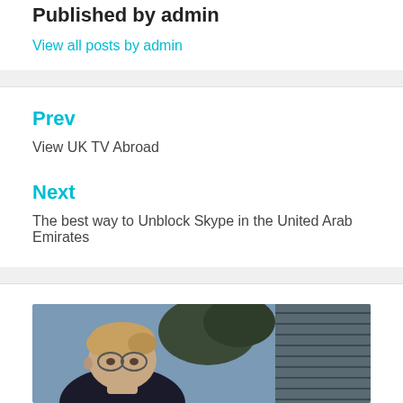Published by admin
View all posts by admin
Prev
View UK TV Abroad
Next
The best way to Unblock Skype in the United Arab Emirates
[Figure (photo): A man with blonde hair and glasses photographed outdoors in front of a building with horizontal blinds/shutters.]